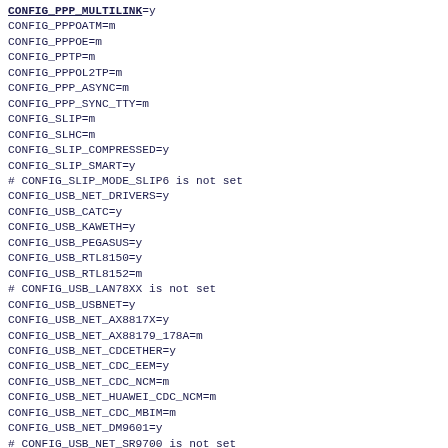CONFIG_PPP_MULTILINK=y
CONFIG_PPPOATM=m
CONFIG_PPPOE=m
CONFIG_PPTP=m
CONFIG_PPPOL2TP=m
CONFIG_PPP_ASYNC=m
CONFIG_PPP_SYNC_TTY=m
CONFIG_SLIP=m
CONFIG_SLHC=m
CONFIG_SLIP_COMPRESSED=y
CONFIG_SLIP_SMART=y
# CONFIG_SLIP_MODE_SLIP6 is not set
CONFIG_USB_NET_DRIVERS=y
CONFIG_USB_CATC=y
CONFIG_USB_KAWETH=y
CONFIG_USB_PEGASUS=y
CONFIG_USB_RTL8150=y
CONFIG_USB_RTL8152=m
# CONFIG_USB_LAN78XX is not set
CONFIG_USB_USBNET=y
CONFIG_USB_NET_AX8817X=y
CONFIG_USB_NET_AX88179_178A=m
CONFIG_USB_NET_CDCETHER=y
CONFIG_USB_NET_CDC_EEM=y
CONFIG_USB_NET_CDC_NCM=m
CONFIG_USB_NET_HUAWEI_CDC_NCM=m
CONFIG_USB_NET_CDC_MBIM=m
CONFIG_USB_NET_DM9601=y
# CONFIG_USB_NET_SR9700 is not set
# CONFIG_USB_NET_SR9800 is not set
CONFIG_USB_NET_SMSC75XX=y